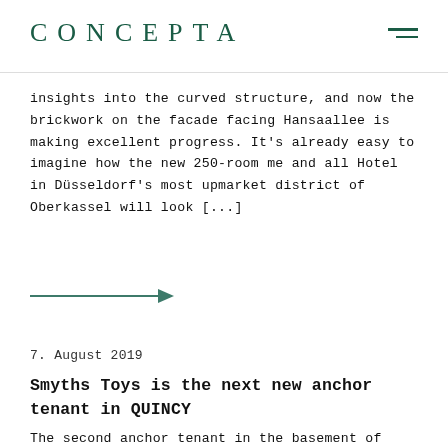CONCEPTA
insights into the curved structure, and now the brickwork on the facade facing Hansaallee is making excellent progress. It's already easy to imagine how the new 250-room me and all Hotel in Düsseldorf's most upmarket district of Oberkassel will look [...]
[Figure (illustration): A right-pointing arrow in dark teal/green color]
7. August 2019
Smyths Toys is the next new anchor tenant in QUINCY
The second anchor tenant in the basement of